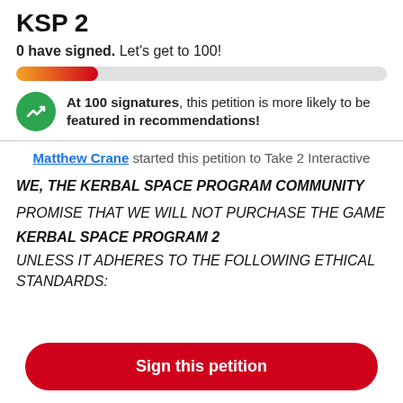KSP 2
0 have signed. Let’s get to 100!
[Figure (other): Progress bar showing petition signatures, partially filled with gradient from orange to red, on a grey background. Approximately 22% filled.]
At 100 signatures, this petition is more likely to be featured in recommendations!
Matthew Crane started this petition to Take 2 Interactive
WE, THE KERBAL SPACE PROGRAM COMMUNITY
PROMISE THAT WE WILL NOT PURCHASE THE GAME KERBAL SPACE PROGRAM 2 UNLESS IT ADHERES TO THE FOLLOWING ETHICAL STANDARDS:
Sign this petition